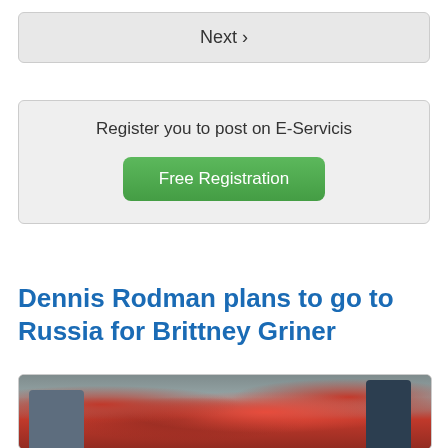Next >
Register you to post on E-Servicis
Free Registration
Dennis Rodman plans to go to Russia for Brittney Griner
[Figure (photo): Photo of Dennis Rodman in a crowd at a sports event, wearing a brown cap and denim jacket, surrounded by fans in red clothing]